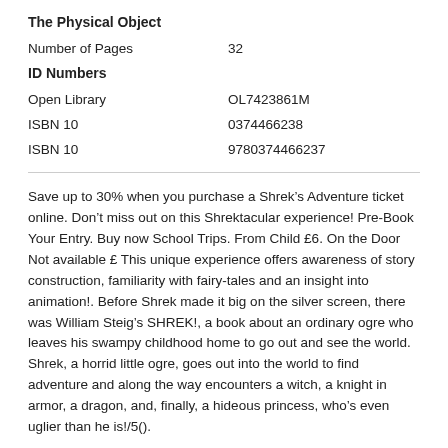The Physical Object
| Number of Pages | 32 |
ID Numbers
| Open Library | OL7423861M |
| ISBN 10 | 0374466238 |
| ISBN 10 | 9780374466237 |
Save up to 30% when you purchase a Shrek’s Adventure ticket online. Don’t miss out on this Shrektacular experience! Pre-Book Your Entry. Buy now School Trips. From Child £6. On the Door Not available £ This unique experience offers awareness of story construction, familiarity with fairy-tales and an insight into animation!. Before Shrek made it big on the silver screen, there was William Steig’s SHREK!, a book about an ordinary ogre who leaves his swampy childhood home to go out and see the world. Shrek, a horrid little ogre, goes out into the world to find adventure and along the way encounters a witch, a knight in armor, a dragon, and, finally, a hideous princess, who’s even uglier than he is!/5().
Sep 02,  · No, this is not a book based off the blockbuster movie. In fact, this little story is where the idea for SHREK the movie came from. The story and illustrations are classic William Stieg, mixing a childlike fascination with a bizarre almost cynical, humorous look at the